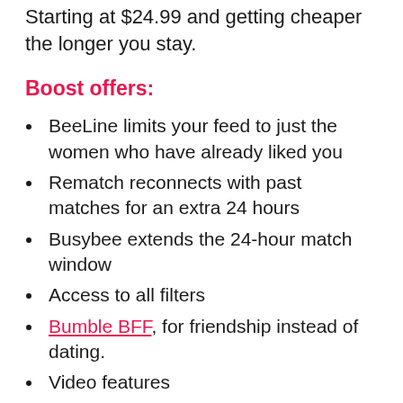Starting at $24.99 and getting cheaper the longer you stay.
Boost offers:
BeeLine limits your feed to just the women who have already liked you
Rematch reconnects with past matches for an extra 24 hours
Busybee extends the 24-hour match window
Access to all filters
Bumble BFF, for friendship instead of dating.
Video features
Spotlight, to get your profile features in